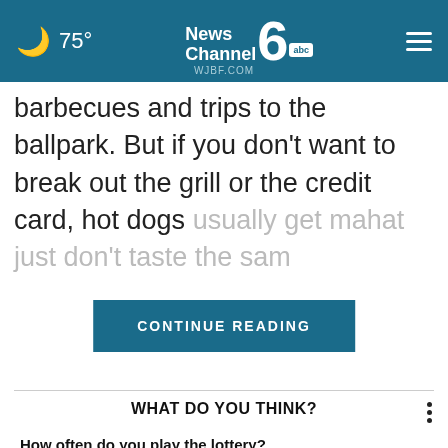75° News Channel 6 abc WJBF.COM
barbecues and trips to the ballpark. But if you don't want to break out the grill or the credit card, hot dogs usually get ma[rked up at venues] that just don't taste the sam[e]
CONTINUE READING
WHAT DO YOU THINK?
How often do you play the lottery?
Very often
Somewhat often
Not that often
Not often at all
Other/Doesn't apply